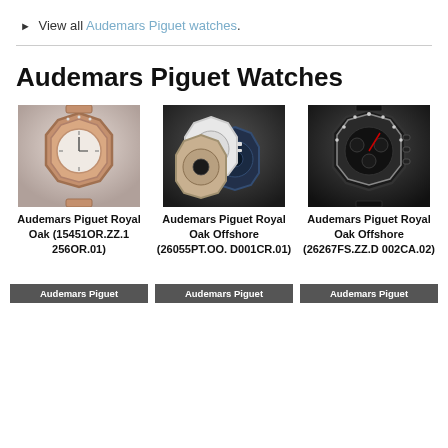▶ View all Audemars Piguet watches.
Audemars Piguet Watches
[Figure (photo): Audemars Piguet Royal Oak rose gold watch with diamond bezel on bracelet]
Audemars Piguet Royal Oak (15451OR.ZZ.1256OR.01)
Audemars Piguet
[Figure (photo): Three Audemars Piguet Royal Oak Offshore chronograph watches in white, navy, and tan colorways]
Audemars Piguet Royal Oak Offshore (26055PT.OO.D001CR.01)
Audemars Piguet
[Figure (photo): Audemars Piguet Royal Oak Offshore black ceramic chronograph watch with diamond bezel]
Audemars Piguet Royal Oak Offshore (26267FS.ZZ.D002CA.02)
Audemars Piguet